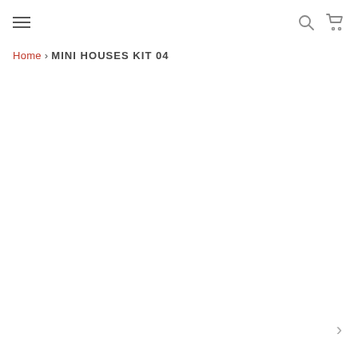Navigation header with hamburger menu, search icon, and cart icon
Home › MINI HOUSES KIT 04